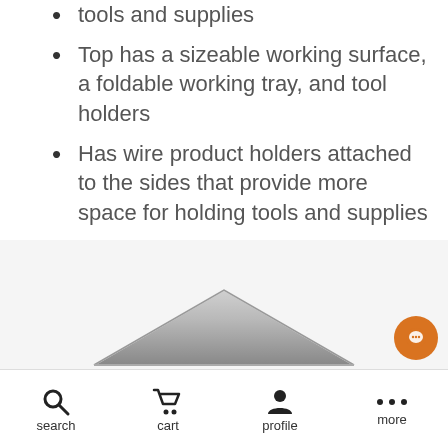tools and supplies
Top has a sizeable working surface, a foldable working tray, and tool holders
Has wire product holders attached to the sides that provide more space for holding tools and supplies
Four large rubber wheels ensure ease of movement and a smooth glide
2. Berkeley Akasha Tattoo Tray
[Figure (photo): Partial view of a metallic tattoo tray product, showing the top corner of a stainless steel tray]
search  cart  profile  more